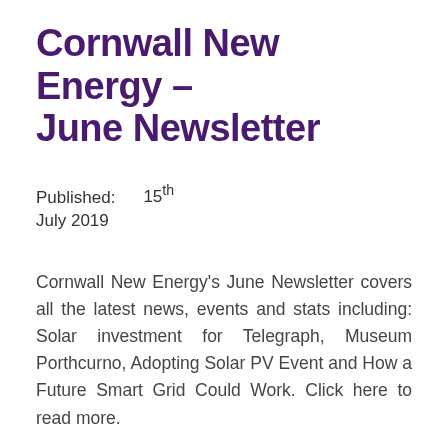Cornwall New Energy – June Newsletter
Published:        15th July 2019
Cornwall New Energy's June Newsletter covers all the latest news, events and stats including: Solar investment for Telegraph, Museum Porthcurno, Adopting Solar PV Event and How a Future Smart Grid Could Work. Click here to read more.